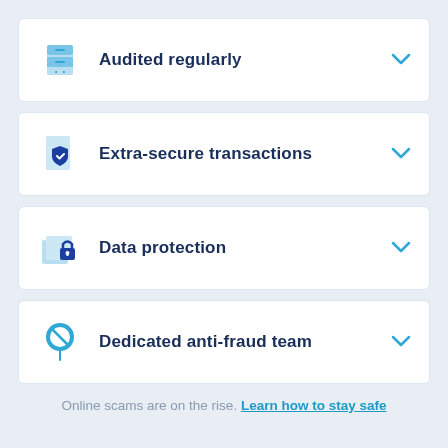Audited regularly
Extra-secure transactions
Data protection
Dedicated anti-fraud team
Online scams are on the rise. Learn how to stay safe